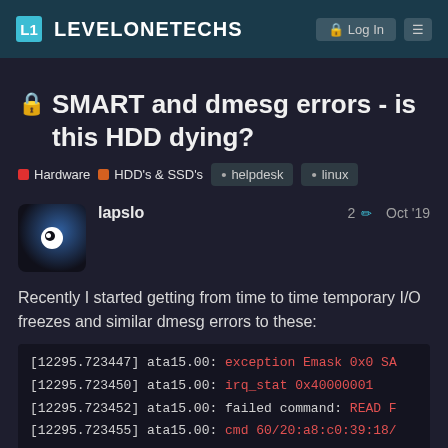L1 LEVELONETECHS
🔒 SMART and dmesg errors - is this HDD dying?
Hardware  HDD's & SSD's  • helpdesk  • linux
lapslo   2 ✏  Oct '19
Recently I started getting from time to time temporary I/O freezes and similar dmesg errors to these:
[12295.723447] ata15.00: exception Emask 0x0 SA
[12295.723450] ata15.00: irq_stat 0x40000001
[12295.723452] ata15.00: failed command: READ F
[12295.723455] ata15.00: cmd 60/20:a8:c0:39:18/
                          res 51/40:05:db:39:18/00:00:00:00:00/
[12295.723457] ata15.00: status: { DRDY ERR }
[12295.723458] ata15.00: error: { UNC }